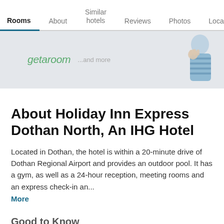Rooms | About | Similar hotels | Reviews | Photos | Loca...
[Figure (illustration): Banner advertisement area showing 'getaroom' logo in green italic text, '...and more' in grey, and a cartoon figure of a person in pajamas on the right side, on a light grey background.]
About Holiday Inn Express Dothan North, An IHG Hotel
Located in Dothan, the hotel is within a 20-minute drive of Dothan Regional Airport and provides an outdoor pool. It has a gym, as well as a 24-hour reception, meeting rooms and an express check-in an...
More
Good to Know